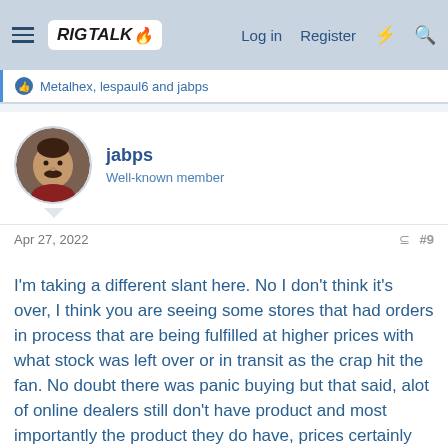RIG TALK — Log in | Register
Metalhex, lespaul6 and jabps
jabps
Well-known member
Apr 27, 2022   #9
I'm taking a different slant here. No I don't think it's over, I think you are seeing some stores that had orders in process that are being fulfilled at higher prices with what stock was left over or in transit as the crap hit the fan. No doubt there was panic buying but that said, alot of online dealers still don't have product and most importantly the product they do have, prices certainly have not come back down.
At the end of the day two companies aren't producing, one due to the war and one due to being shutdown. Throw in the fact that JJ was backlogged and then the panic and product became scarce...